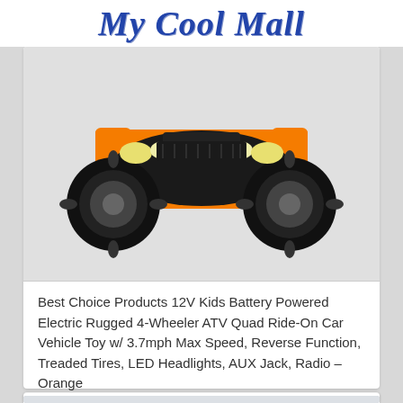My Cool Mall
[Figure (photo): Orange and black 12V kids ATV quad ride-on toy vehicle with large treaded tires and LED headlights]
Best Choice Products 12V Kids Battery Powered Electric Rugged 4-Wheeler ATV Quad Ride-On Car Vehicle Toy w/ 3.7mph Max Speed, Reverse Function, Treaded Tires, LED Headlights, AUX Jack, Radio – Orange
[Figure (photo): Black kids ride-on electric toy car with open gull-wing doors, cockpit interior visible, and a red rollbar]